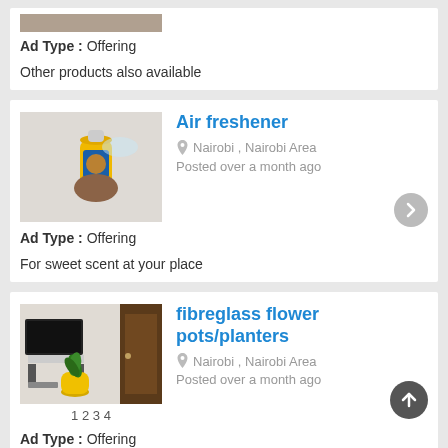Ad Type : Offering
Other products also available
Air freshener
Nairobi , Nairobi Area
Posted over a month ago
Ad Type : Offering
For sweet scent at your place
fibreglass flower pots/planters
Nairobi , Nairobi Area
Posted over a month ago
1 2 3 4
Ad Type : Offering